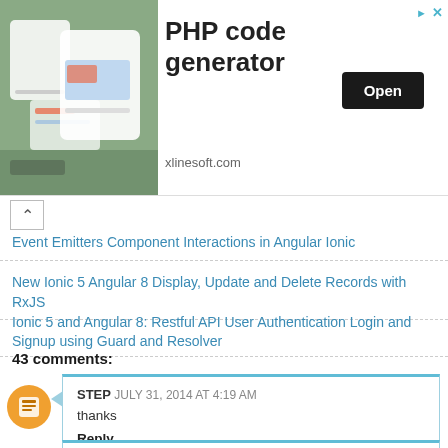[Figure (other): Advertisement banner for PHP code generator by xlinesoft.com with an Open button]
Event Emitters Component Interactions in Angular Ionic
New Ionic 5 Angular 8 Display, Update and Delete Records with RxJS
Ionic 5 and Angular 8: Restful API User Authentication Login and Signup using Guard and Resolver
43 comments:
STEP   JULY 31, 2014 AT 4:19 AM
thanks
Reply